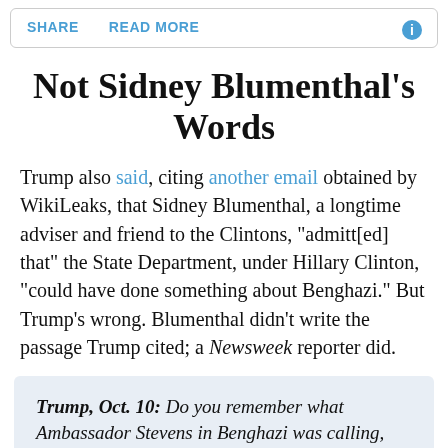SHARE   READ MORE
Not Sidney Blumenthal's Words
Trump also said, citing another email obtained by WikiLeaks, that Sidney Blumenthal, a longtime adviser and friend to the Clintons, "admitt[ed] that" the State Department, under Hillary Clinton, "could have done something about Benghazi." But Trump's wrong. Blumenthal didn't write the passage Trump cited; a Newsweek reporter did.
Trump, Oct. 10: Do you remember what Ambassador Stevens in Benghazi was calling, and writing, and even — they were desperate for help. They say like